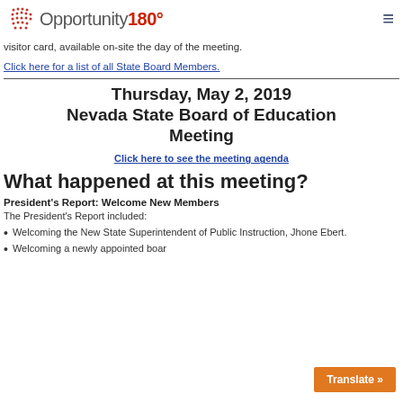Opportunity180°
visitor card, available on-site the day of the meeting.
Click here for a list of all State Board Members.
Thursday, May 2, 2019 Nevada State Board of Education Meeting
Click here to see the meeting agenda
What happened at this meeting?
President's Report: Welcome New Members
The President's Report included:
Welcoming the New State Superintendent of Public Instruction, Jhone Ebert.
Welcoming a newly appointed boar...